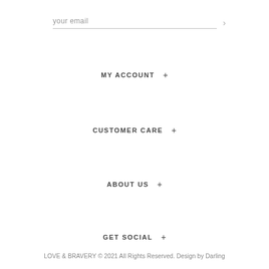your email
MY ACCOUNT +
CUSTOMER CARE +
ABOUT US +
GET SOCIAL +
LOVE & BRAVERY © 2021 All Rights Reserved. Design by Darling